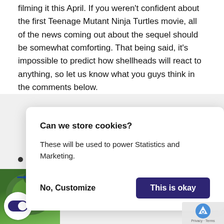filming it this April. If you weren't confident about the first Teenage Mutant Ninja Turtles movie, all of the news coming out about the sequel should be somewhat comforting. That being said, it's impossible to predict how shellheads will react to anything, so let us know what you guys think in the comments below.
•
Can we store cookies?
These will be used to power Statistics and Marketing.
No, Customize | This is okay
[Figure (screenshot): Cookie consent dialog with title 'Can we store cookies?', body text 'These will be used to power Statistics and Marketing.', and two buttons: 'No, Customize' (text) and 'This is okay' (dark purple button)]
My name is Justin Wren and I love to write about the TMNT! I've been a big Teenage Mutant Ninja Turtles fan since the late 80's. Back then, I would watch the original animated series and play with